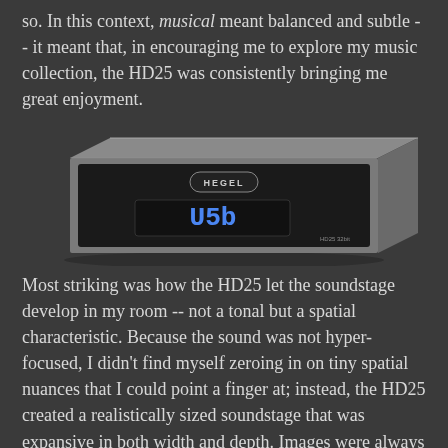so. In this context, musical meant balanced and subtle -- it meant that, in encouraging me to explore my music collection, the HD25 was consistently bringing me great enjoyment.
[Figure (photo): Hegel HD25 32bit DAC/headphone amplifier, a rectangular silver/grey chassis with black front panel showing USB on blue LED display and HEGEL logo badge]
Most striking was how the HD25 let the soundstage develop in my room -- not a tonal but a spatial characteristic. Because the sound was not hyper-focused, I didn't find myself zeroing in on tiny spatial nuances that I could point a finger at; instead, the HD25 created a realistically sized soundstage that was expansive in both width and depth. Images were always of the